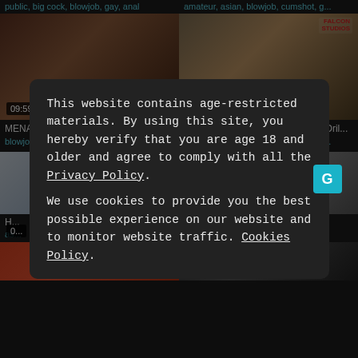public, big cock, blowjob, gay, anal
amateur, asian, blowjob, cumshot, g...
[Figure (screenshot): Video thumbnail: MENATPLAY Suited Gay Emir Boscat... with duration badge 09:59]
[Figure (screenshot): Video thumbnail: FalconStudios - Tattooed Couple Dril... with duration badge 13:06 and Falcon Studios logo]
MENATPLAY Suited Gay Emir Boscat...
FalconStudios - Tattooed Couple Dril...
blowjob, gay, reality, anal
big cock, blowjob, gay, reality, deept...
[Figure (screenshot): Partial video thumbnail bottom left]
[Figure (screenshot): Partial video thumbnail bottom right with man in locker room]
H...
as...
This website contains age-restricted materials. By using this site, you hereby verify that you are age 18 and older and agree to comply with all the Privacy Policy.
We use cookies to provide you the best possible experience on our website and to monitor website traffic. Cookies Policy.
[Figure (screenshot): Bottom strip partial thumbnails]
[Figure (screenshot): Bottom strip partial thumbnail right]